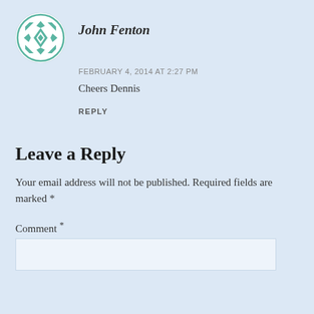[Figure (illustration): Circular avatar with teal/green geometric quilt-like pattern on white background]
John Fenton
FEBRUARY 4, 2014 AT 2:27 PM
Cheers Dennis
REPLY
Leave a Reply
Your email address will not be published. Required fields are marked *
Comment *